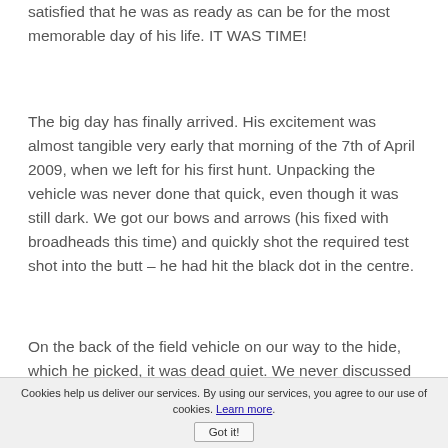satisfied that he was as ready as can be for the most memorable day of his life. IT WAS TIME!
The big day has finally arrived. His excitement was almost tangible very early that morning of the 7th of April 2009, when we left for his first hunt. Unpacking the vehicle was never done that quick, even though it was still dark. We got our bows and arrows (his fixed with broadheads this time) and quickly shot the required test shot into the butt – he had hit the black dot in the centre.
On the back of the field vehicle on our way to the hide, which he picked, it was dead quiet. We never discussed what species he was going to
Cookies help us deliver our services. By using our services, you agree to our use of cookies. Learn more. Got it!